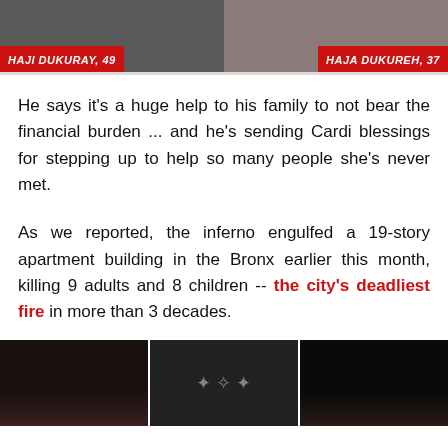[Figure (photo): Two side-by-side portrait photos. Left photo labeled HAJI DUKURAY, 49 with red banner. Right photo labeled HAJA DUKUREH, 37 with red banner.]
He says it's a huge help to his family to not bear the financial burden ... and he's sending Cardi blessings for stepping up to help so many people she's never met.
As we reported, the inferno engulfed a 19-story apartment building in the Bronx earlier this month, killing 9 adults and 8 children -- the city's deadliest fire in more than 3 decades.
[Figure (photo): Three dark photos at the bottom of the page showing fire/building images.]